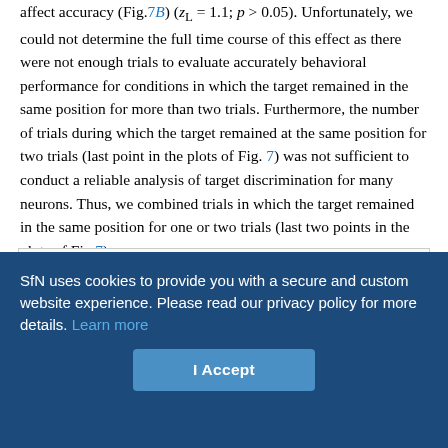affect accuracy (Fig.7B) (z_L = 1.1; p > 0.05). Unfortunately, we could not determine the full time course of this effect as there were not enough trials to evaluate accurately behavioral performance for conditions in which the target remained in the same position for more than two trials. Furthermore, the number of trials during which the target remained at the same position for two trials (last point in the plots of Fig. 7) was not sufficient to conduct a reliable analysis of target discrimination for many neurons. Thus, we combined trials in which the target remained in the same position for one or two trials (last two points in the plots of Fig.7).
[Figure (other): Partial figure region showing the top portion of a figure, cut off at the bottom of the visible page area.]
SfN uses cookies to provide you with a secure and custom website experience. Please read our privacy policy for more details. Learn more
I Accept